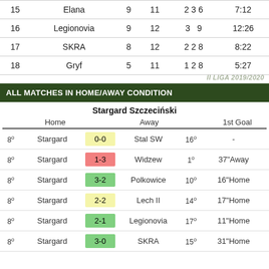| # | Team | Pts | MP | W D L | GD |
| --- | --- | --- | --- | --- | --- |
| 15 | Elana | 9 | 11 | 2 3 6 | 7:12 |
| 16 | Legionovia | 9 | 12 | 3  9 | 12:26 |
| 17 | SKRA | 8 | 12 | 2 2 8 | 8:22 |
| 18 | Gryf | 5 | 11 | 1 2 8 | 5:27 |
ALL MATCHES IN HOME/AWAY CONDITION
Stargard Szczeciński
|  | Home | Score | Away | Pos | 1st Goal |
| --- | --- | --- | --- | --- | --- |
| 8° | Stargard | 0-0 | Stal SW | 16° | - |
| 8° | Stargard | 1-3 | Widzew | 1° | 37"Away |
| 8° | Stargard | 3-2 | Polkowice | 10° | 16"Home |
| 8° | Stargard | 2-2 | Lech II | 14° | 17"Home |
| 8° | Stargard | 2-1 | Legionovia | 17° | 11"Home |
| 8° | Stargard | 3-0 | SKRA | 15° | 31"Home |